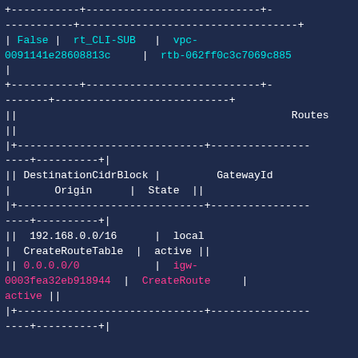[Figure (screenshot): Terminal output showing AWS CLI route table data with table borders, displaying route table entries including DestinationCidrBlock, GatewayId, Origin, and State columns. Contains cyan-colored VPC and route table IDs, and pink-colored route entries for 0.0.0.0/0 with internet gateway.]